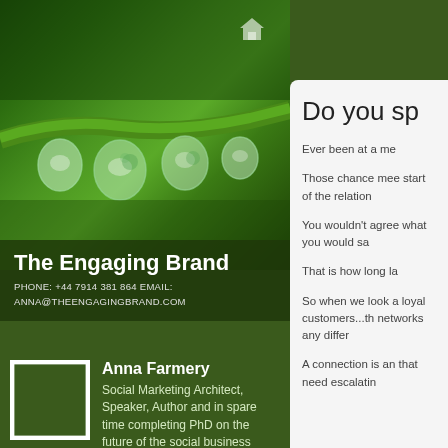[Figure (photo): Close-up photo of green plant stem with water droplets]
The Engaging Brand
PHONE: +44 7914 381 864 EMAIL: ANNA@THEENGAGINGBRAND.COM
Anna Farmery
Social Marketing Architect, Speaker, Author and in spare time completing PhD on the future of the social business model
Do you sp
Ever been at a me
Those chance mee start of the relation
You wouldn't agre what you would sa
That is how long la
So when we look a loyal customers...th networks any differ
A connection is an that need escalatin